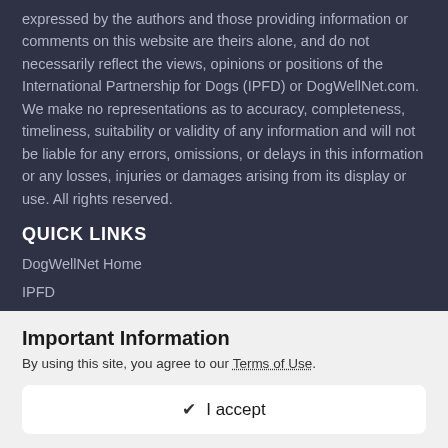expressed by the authors and those providing information or comments on this website are theirs alone, and do not necessarily reflect the views, opinions or positions of the International Partnership for Dogs (IPFD) or DogWellNet.com. We make no representations as to accuracy, completeness, timeliness, suitability or validity of any information and will not be liable for any errors, omissions, or delays in this information or any losses, injuries or damages arising from its display or use. All rights reserved.
QUICK LINKS
DogWellNet Home
IPFD
Genetic Testing
Important Information
By using this site, you agree to our Terms of Use.
✔ I accept